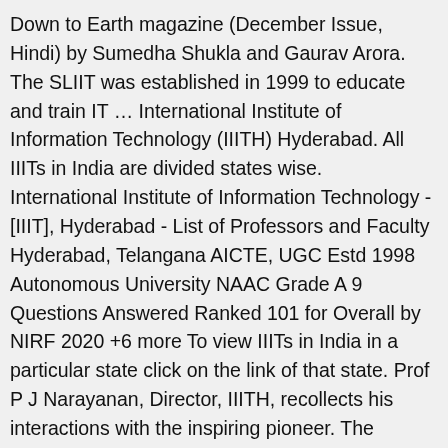Down to Earth magazine (December Issue, Hindi) by Sumedha Shukla and Gaurav Arora. The SLIIT was established in 1999 to educate and train IT … International Institute of Information Technology (IIITH) Hyderabad. All IIITs in India are divided states wise. International Institute of Information Technology - [IIIT], Hyderabad - List of Professors and Faculty Hyderabad, Telangana AICTE, UGC Estd 1998 Autonomous University NAAC Grade A 9 Questions Answered Ranked 101 for Overall by NIRF 2020 +6 more To view IIITs in India in a particular state click on the link of that state. Prof P J Narayanan, Director, IIITH, recollects his interactions with the inspiring pioneer. The number of IIITs in India in any particular state is mentioned in front of the link. Please check your browser settings and enable javascript. International Institute of Information Technology, Bangalore (IIIT-B) is a deemed UGC approved NAAC Accreditation (Grade 'A') University. Core areas covered are computer and web programming; database and operating systems etc. The institute is ranked at 62nd position by NIRF ranking 2020